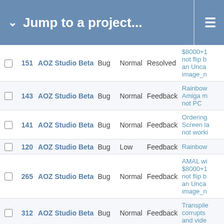Jump to a project...
|  | # | Project | Type | Priority | Status | Subject |
| --- | --- | --- | --- | --- | --- | --- |
|  | 151 | AOZ Studio Beta | Bug | Normal | Resolved | $8000+1 not flip b an Unca image_n |
|  | 143 | AOZ Studio Beta | Bug | Normal | Feedback | Rainbow Amiga m not PC |
|  | 141 | AOZ Studio Beta | Bug | Normal | Feedback | Ordering Screen la not worki |
|  | 120 | AOZ Studio Beta | Bug | Low | Feedback | Rainbow |
|  | 265 | AOZ Studio Beta | Bug | Normal | Feedback | AMAL wi $8000+1 not flip b an Unca image_n |
|  | 312 | AOZ Studio Beta | Bug | Normal | Feedback | Transpile corrupts and vide |
|  | 300 | AOZ Studio Beta | Bug | Normal | Resolved | AMAL ca error but AMOS |